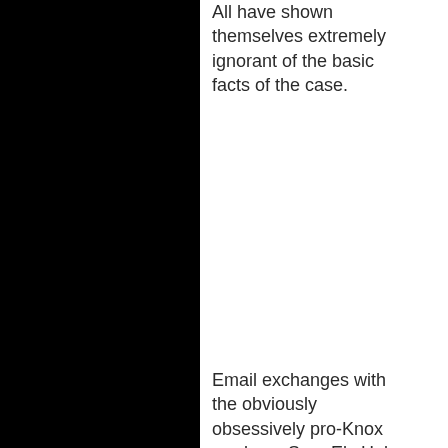All have shown themselves extremely ignorant of the basic facts of the case.
Email exchanges with the obviously obsessively pro-Knox producer Sara Ely Hulse have suggested to us that, among many other key facts of the case, she was not aware of the